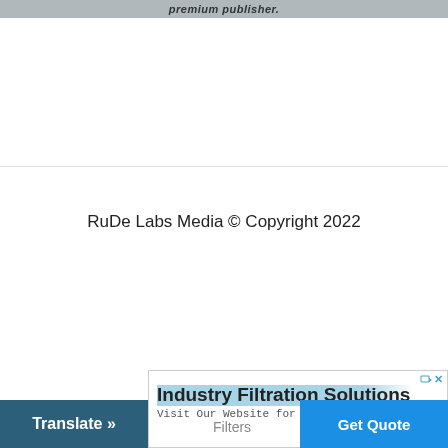premium publisher.
RuDe Labs Media © Copyright 2022
[Figure (infographic): Advertisement banner for Industry Filtration Solutions with title, subtitle 'Visit Our Website for a Free Quote!', Filters link, and Get Quote button. Also includes a Translate button on the bottom left.]